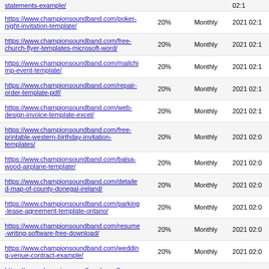| URL | Change Frequency % | Frequency | Last Modified |
| --- | --- | --- | --- |
| statements-example/ |  |  | 02:1 |
| https://www.championsoundband.com/poker-night-invitation-template/ | 20% | Monthly | 2021 02:1 |
| https://www.championsoundband.com/free-church-flyer-templates-microsoft-word/ | 20% | Monthly | 2021 02:1 |
| https://www.championsoundband.com/mailchimp-event-template/ | 20% | Monthly | 2021 02:1 |
| https://www.championsoundband.com/repair-order-template-pdf/ | 20% | Monthly | 2021 02:1 |
| https://www.championsoundband.com/web-design-invoice-template-excel/ | 20% | Monthly | 2021 02:1 |
| https://www.championsoundband.com/free-printable-western-birthday-invitation-templates/ | 20% | Monthly | 2021 02:0 |
| https://www.championsoundband.com/balsa-wood-airplane-template/ | 20% | Monthly | 2021 02:0 |
| https://www.championsoundband.com/detailed-map-of-county-donegal-ireland/ | 20% | Monthly | 2021 02:0 |
| https://www.championsoundband.com/parking-lease-agreement-template-ontario/ | 20% | Monthly | 2021 02:0 |
| https://www.championsoundband.com/resume-writing-software-free-download/ | 20% | Monthly | 2021 02:0 |
| https://www.championsoundband.com/wedding-venue-contract-example/ | 20% | Monthly | 2021 02:0 |
| https://www.championsoundband.com/free-resume-sample-format-download/ | 20% | Monthly | 2021 02:0 |